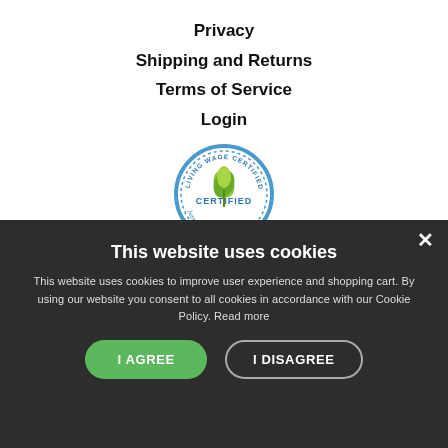Privacy
Shipping and Returns
Terms of Service
Login
[Figure (logo): Living Wage Certified badge from Justeconomics — circular seal with green leaf plant illustration, blue border text reading 'living wage certified', and 'justeconomics' text below]
[Figure (infographic): Light blue payment methods bar with grey card icons]
This website uses cookies
This website uses cookies to improve user experience and shopping cart. By using our website you consent to all cookies in accordance with our Cookie Policy. Read more
I AGREE
I DISAGREE